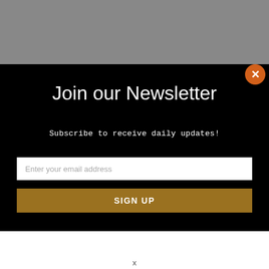[Figure (screenshot): Gray background area at top of page, representing the dimmed website behind the modal overlay.]
Join our Newsletter
Subscribe to receive daily updates!
Enter your email address
SIGN UP